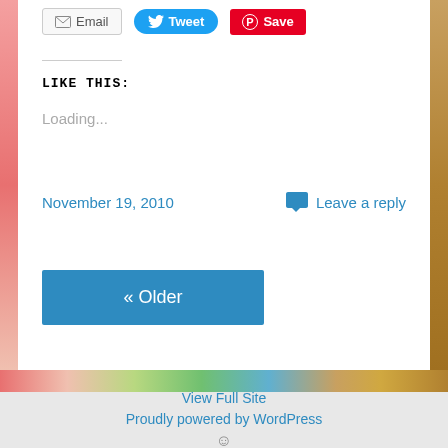[Figure (screenshot): Email, Tweet, and Save/Pinterest share buttons]
LIKE THIS:
Loading...
November 19, 2010
Leave a reply
[Figure (other): « Older navigation button (blue rectangle)]
View Full Site
Proudly powered by WordPress
☺